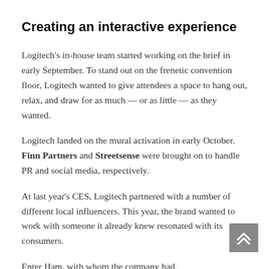Creating an interactive experience
Logitech's in-house team started working on the brief in early September. To stand out on the frenetic convention floor, Logitech wanted to give attendees a space to hang out, relax, and draw for as much — or as little — as they wanted.
Logitech landed on the mural activation in early October. Finn Partners and Streetsense were brought on to handle PR and social media, respectively.
At last year's CES, Logitech partnered with a number of different local influencers. This year, the brand wanted to work with someone it already knew resonated with its consumers.
Enter Ham, with whom the company had